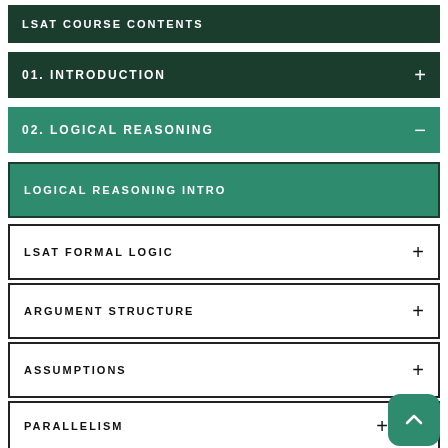LSAT COURSE CONTENTS
01. INTRODUCTION
02. LOGICAL REASONING
LOGICAL REASONING INTRO
LSAT FORMAL LOGIC
ARGUMENT STRUCTURE
ASSUMPTIONS
PARALLELISM
MODIFY ARGUMENTS
LOGICAL REASONING REVIEW